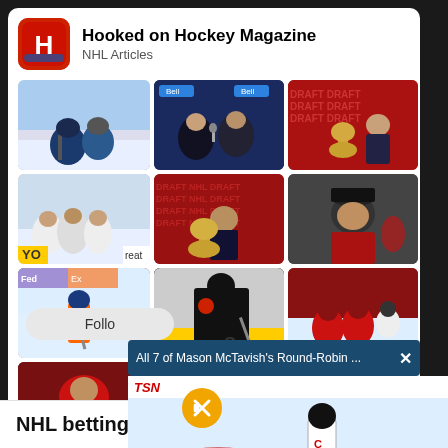Hooked on Hockey Magazine
NHL Articles
[Figure (photo): Grid of 10 NHL hockey photos showing game action, press conferences with trophies, player celebrations, and individual players]
Follow
All 7 of Mason McTavish's Round-Robin ...
[Figure (screenshot): TSN video overlay showing a hockey player in white Canada jersey on ice with a mute button overlay]
NHL betting odds